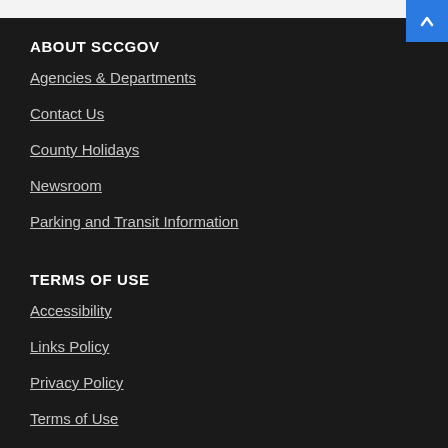ABOUT SCCGOV
Agencies & Departments
Contact Us
County Holidays
Newsroom
Parking and Transit Information
TERMS OF USE
Accessibility
Links Policy
Privacy Policy
Terms of Use